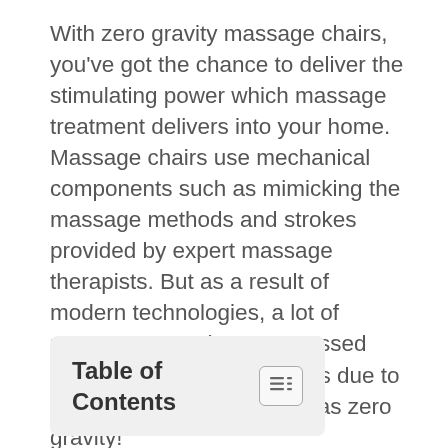With zero gravity massage chairs, you've got the chance to deliver the stimulating power which massage treatment delivers into your home. Massage chairs use mechanical components such as mimicking the massage methods and strokes provided by expert massage therapists. But as a result of modern technologies, a lot of massage seats have surpassed massage therapists' abilities due to exceptional features, such as zero gravity!
Table of Contents